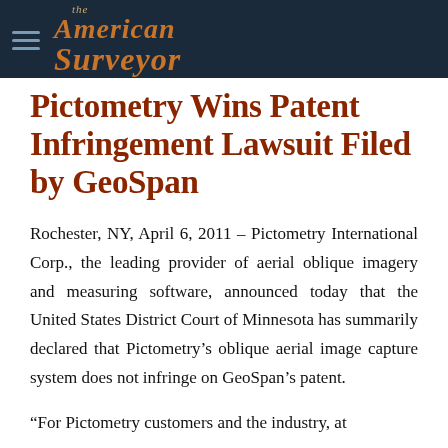The American Surveyor
Pictometry Wins Patent Infringement Lawsuit Filed by GeoSpan
Rochester, NY, April 6, 2011 – Pictometry International Corp., the leading provider of aerial oblique imagery and measuring software, announced today that the United States District Court of Minnesota has summarily declared that Pictometry's oblique aerial image capture system does not infringe on GeoSpan's patent.
"For Pictometry customers and the industry, at